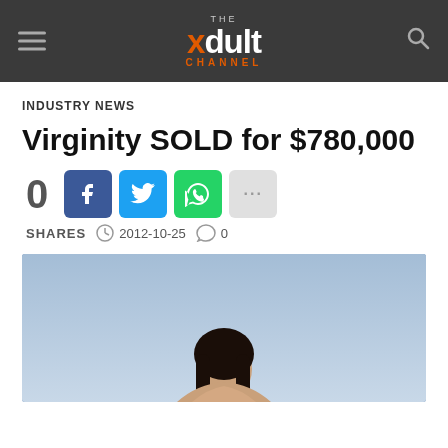THE xdult CHANNEL
INDUSTRY NEWS
Virginity SOLD for $780,000
0 shares, 2012-10-25, 0 comments
[Figure (photo): Photo of a woman with dark hair against a blue-grey sky background]